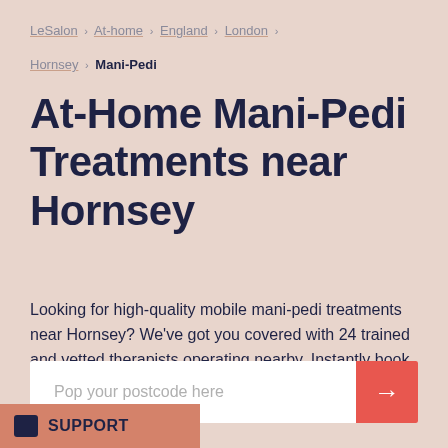LeSalon › At-home › England › London › Hornsey › Mani-Pedi
At-Home Mani-Pedi Treatments near Hornsey
Looking for high-quality mobile mani-pedi treatments near Hornsey? We've got you covered with 24 trained and vetted therapists operating nearby. Instantly book your first LeSalon experience today.
Pop your postcode here